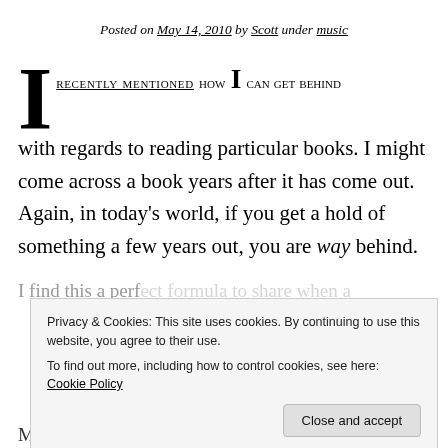Posted on May 14, 2010 by Scott under music
I RECENTLY MENTIONED HOW I CAN GET BEHIND with regards to reading particular books. I might come across a book years after it has come out. Again, in today’s world, if you get a hold of something a few years out, you are way behind.
I find this a perfect formula to share when a new...
Privacy & Cookies: This site uses cookies. By continuing to use this website, you agree to their use. To find out more, including how to control cookies, see here: Cookie Policy
My Imagined Life: the changed Justice Exchange...